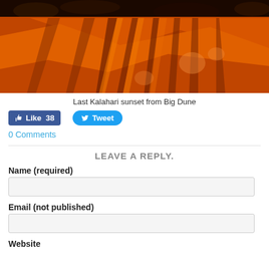[Figure (photo): Aerial view of Kalahari desert dunes at sunset, with dramatic orange-red sand and dark shadow patterns across the dunes, dark scrubby vegetation visible at top.]
Last Kalahari sunset from Big Dune
[Figure (infographic): Social media buttons: Facebook Like button showing 38 likes (blue), and Twitter Tweet button (blue rounded).]
0 Comments
LEAVE A REPLY.
Name (required)
Email (not published)
Website